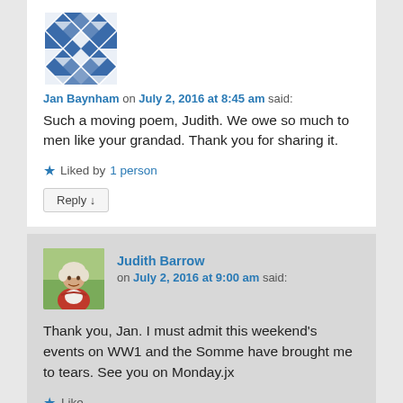[Figure (illustration): Geometric blue and white patterned avatar for Jan Baynham]
Jan Baynham on July 2, 2016 at 8:45 am said:
Such a moving poem, Judith. We owe so much to men like your grandad. Thank you for sharing it.
★ Liked by 1 person
Reply ↓
[Figure (photo): Photo of Judith Barrow, an older woman with white hair wearing a red jacket]
Judith Barrow on July 2, 2016 at 9:00 am said:
Thank you, Jan. I must admit this weekend's events on WW1 and the Somme have brought me to tears. See you on Monday.jx
★ Like